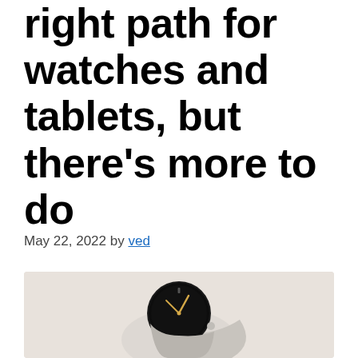right path for watches and tablets, but there's more to do
May 22, 2022 by ved
[Figure (photo): A Google Pixel Watch with a black circular face and gold clock hands, paired with a light gray/white sport band, displayed against a light beige background.]